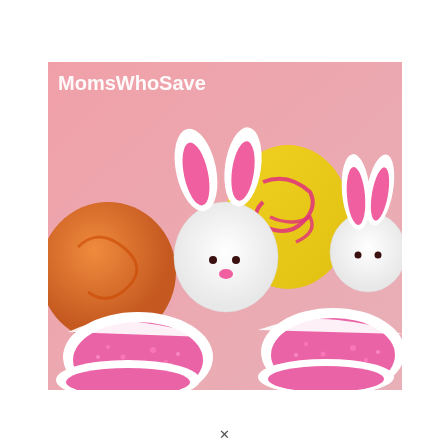[Figure (photo): Easter-themed cake pops or marshmallow treats decorated as white bunnies with pink sugar-coated ears and feet. In the background are colorful Easter eggs (yellow with pink pattern, orange). The foreground shows large pink sugar-coated bunny ear/feet shapes. A watermark reading 'MomsWhoSave' appears in white text in the upper left of the image.]